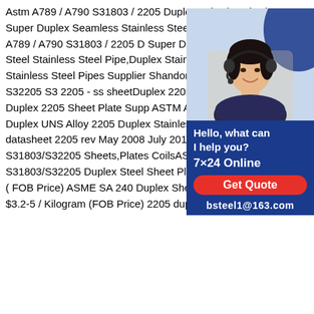Astm A789 / A790 S31803 / 2205 Duplex Tube /good Price Super Duplex Seamless Stainless Steel Pipe ,Find Complete Details about Astm A789 / A790 S31803 / 2205 Duplex Tube /good Price Super Duplex Seamless Stainless Steel Pipe,Duplex Stainless Steel Pipe,Duplex Stainless Steel Tube from Stainless Steel Pipes Supplier or Manufacturer-Shandong XinzhouAstm 2205 S32205 S31803 Duplex 2205 - ss sheetDuplex 2205 Stainless Steel Products Duplex 2205 Sheet Plate Supplier stockist ASTM ASTM A240 UNS S32205 Duplex UNS Alloy 2205 Duplex Stainless Steel Plates Atlas Grade datasheet 2205 rev May 2008 July 2010.ASTM A240 - Duplex S31803/S32205 Sheets,Plates CoilsASTM A240 UNS S31803/S32205 Duplex Steel Sheet Plate US $1000-3000 / Ton (FOB Price) ASME SA 240 Duplex Sheets Coils wholesaler US $3.2-5 / Kilogram (FOB Price) 2205 duplex stainless steel data
[Figure (other): Customer service chat widget with a photo of a woman wearing a headset, dark blue background, text 'Hello, what can I help you?', '7x24 Online', a red 'Get Quote' button, and contact email 'bsteel1@163.com']